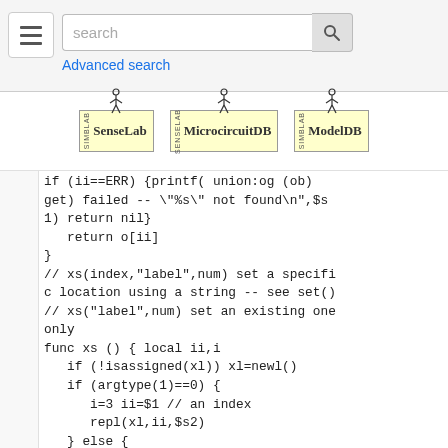[Figure (screenshot): Navigation bar with hamburger menu, search input box with search button, and Advanced search link]
[Figure (logo): Three logos side by side: SenseLab, MicrocircuitDB, ModelDB - each with a stick figure on top, vertical SIMBLAB text, and yellow background box]
if (ii==ERR) {printf( union:og (ob) get) failed -- \"%s\" not found\n",$s 1) return nil}
   return o[ii]
}
// xs(index,"label",num) set a specifi c location using a string -- see set()
// xs("label",num) set an existing one only
func xs () { local ii,i
   if (!isassigned(xl)) xl=newl()
   if (argtype(1)==0) {
      i=3 ii=$1 // an index
      repl(xl,ii,$s2)
   } else {
      i=2 ii=fi(xl,$s1)
      if (ii==ERR) {printf("Union:xs (nu m set) failed -- no %s found\n",$s1) r eturn ERR}
      }